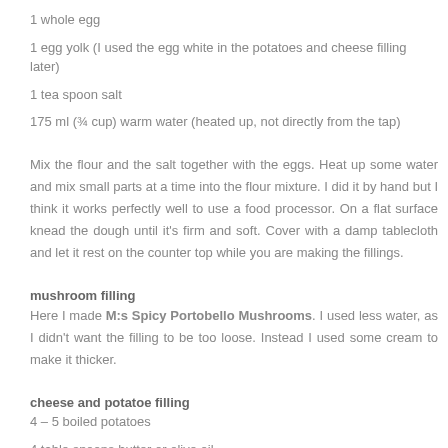1 whole egg
1 egg yolk (I used the egg white in the potatoes and cheese filling later)
1 tea spoon salt
175 ml (¾ cup) warm water (heated up, not directly from the tap)
Mix the flour and the salt together with the eggs. Heat up some water and mix small parts at a time into the flour mixture. I did it by hand but I think it works perfectly well to use a food processor. On a flat surface knead the dough until it's firm and soft. Cover with a damp tablecloth and let it rest on the counter top while you are making the fillings.
mushroom filling
Here I made M:s Spicy Portobello Mushrooms. I used less water, as I didn't want the filling to be too loose. Instead I used some cream to make it thicker.
cheese and potatoe filling
4 – 5 boiled potatoes
4 table spoons butter or olive oil
50 ml (0.2 cup) milk
1 egg white